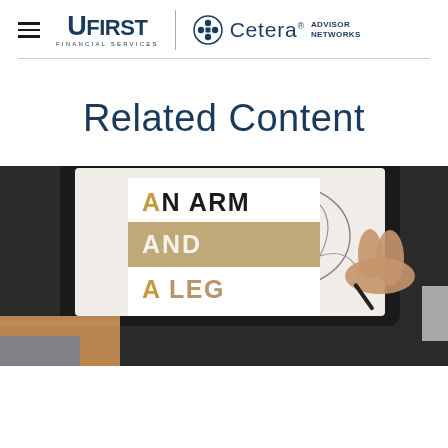UFIRST Financial Services | Cetera Advisor Networks
Related Content
[Figure (photo): Photo of a person's hand drawing or sketching a shoe on a tablet with a stylus, with the text overlay card reading AN ARM AND A LEG]